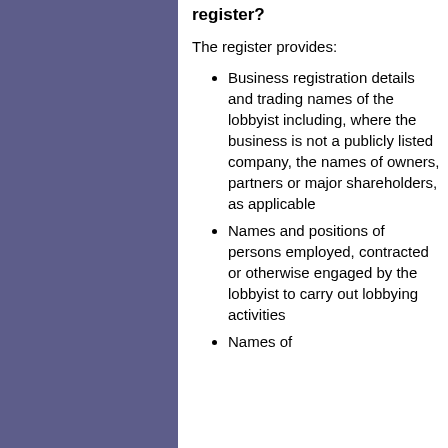register?
The register provides:
Business registration details and trading names of the lobbyist including, where the business is not a publicly listed company, the names of owners, partners or major shareholders, as applicable
Names and positions of persons employed, contracted or otherwise engaged by the lobbyist to carry out lobbying activities
Names of